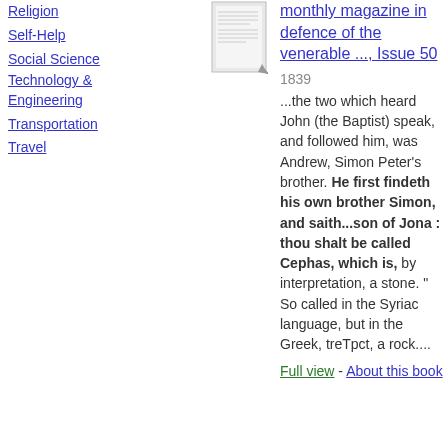Religion
Self-Help
Social Science
Technology & Engineering
Transportation
Travel
[Figure (illustration): Small thumbnail image of a book page]
monthly magazine in defence of the venerable ..., Issue 50
1839
...the two which heard John (the Baptist) speak, and followed him, was Andrew, Simon Peter's brother. He first findeth his own brother Simon, and saith...son of Jona : thou shalt be called Cephas, which is, by interpretation, a stone. " So called in the Syriac language, but in the Greek, treTpct, a rock....
Full view - About this book